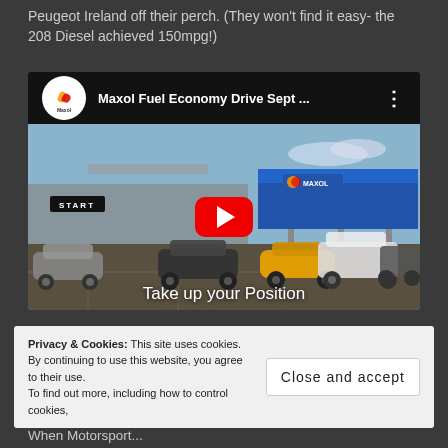Peugeot Ireland off their perch. (They won't find it easy- the 208 Diesel achieved 150mpg!)
[Figure (screenshot): Embedded YouTube video thumbnail showing Maxol Fuel Economy Drive Sept ... with a red play button in the center. Scene shows cars at a Maxol petrol station with a START banner. Text overlay reads 'Take up your Position'. Top bar shows Maxol logo (circular icon with orange/red swirl), video title, and three-dot menu.]
In terms of Motorsport, we had a successful year in terms of
Privacy & Cookies: This site uses cookies. By continuing to use this website, you agree to their use.
To find out more, including how to control cookies,
Close and accept
When Motorsport...